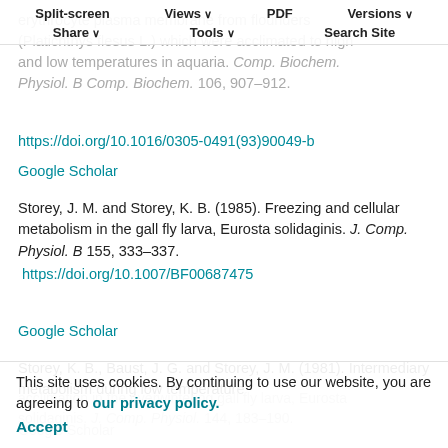Split-screen  Views  PDF  Versions  Share  Tools  Search Site
erythrocyte plasma membrane from flounders (Platichthys flesus L.) which were acclimated to high and low temperatures in aquaria. Comp. Biochem. Physiol. B Comp. Biochem. 106, 907–912.
https://doi.org/10.1016/0305-0491(93)90049-b
Google Scholar
Storey, J. M. and Storey, K. B. (1985). Freezing and cellular metabolism in the gall fly larva, Eurosta solidaginis. J. Comp. Physiol. B 155, 333–337. https://doi.org/10.1007/BF00687475
Google Scholar
Storey, K. B., Baust, J. G. and Storey, J. M. (1981). Intermediary metabolism during low temperature acclimation in the overwintering gall fly larva, Eurosta solidaginis. J. Comp. Physiol. 144, 183–190.
Google Scholar
This site uses cookies. By continuing to use our website, you are agreeing to our privacy policy. Accept